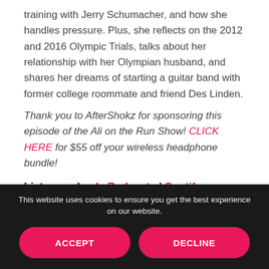training with Jerry Schumacher, and how she handles pressure. Plus, she reflects on the 2012 and 2016 Olympic Trials, talks about her relationship with her Olympian husband, and shares her dreams of starting a guitar band with former college roommate and friend Des Linden.
Thank you to AfterShokz for sponsoring this episode of the Ali on the Run Show! CLICK HERE for $55 off your wireless headphone bundle!
Listen on Apple Podcasts | Spotify
| SoundCloud | Overcast | Stitcher | Google Play
This website uses cookies to ensure you get the best experience on our website.
ACCEPT
DECLINE